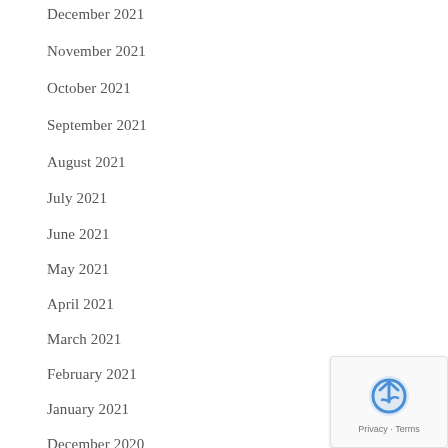December 2021
November 2021
October 2021
September 2021
August 2021
July 2021
June 2021
May 2021
April 2021
March 2021
February 2021
January 2021
December 2020
[Figure (other): reCAPTCHA widget with Privacy and Terms links]